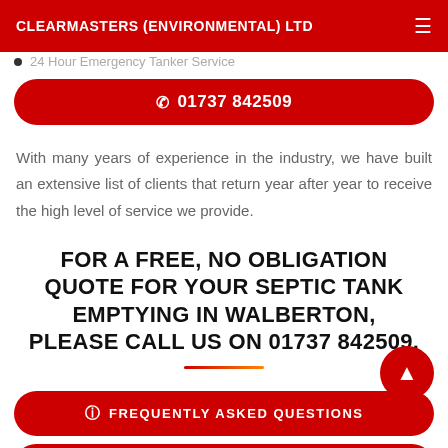CLEARMASTERS (ENVIRONMENTAL) LTD
24 Hour Emergency Tanker Service
☎ 01737 842509
With many years of experience in the industry, we have built an extensive list of clients that return year after year to receive the high level of service we provide.
FOR A FREE, NO OBLIGATION QUOTE FOR YOUR SEPTIC TANK EMPTYING IN WALBERTON, PLEASE CALL US ON 01737 842509.
FREQUENTLY ASKED QUESTIONS
BOOK AN EMPTY